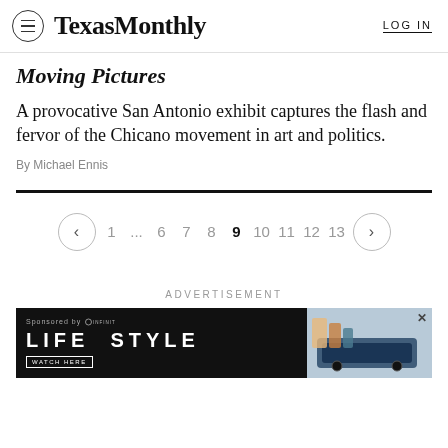Texas Monthly   LOG IN
Moving Pictures
A provocative San Antonio exhibit captures the flash and fervor of the Chicano movement in art and politics.
By Michael Ennis
[Figure (other): Pagination navigation: < 1 ... 6 7 8 9 10 11 12 13 >]
ADVERTISEMENT
[Figure (other): Infiniti Life Style advertisement banner with watch here button and car/people image]